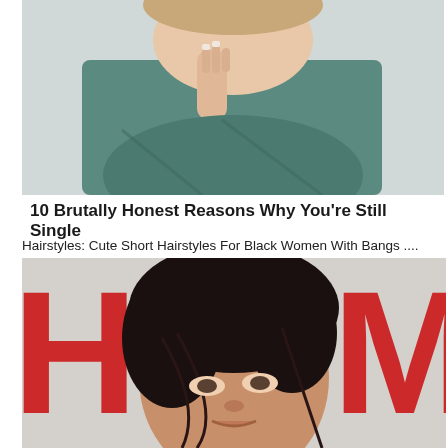[Figure (photo): Woman in teal/green top with hand near face, looking down at camera]
10 Brutally Honest Reasons Why You're Still Single
Hairstyles: Cute Short Hairstyles For Black Women With Bangs ....
[Figure (photo): Woman with short black pixie cut hairstyle with bangs, in front of red H&M logo background]